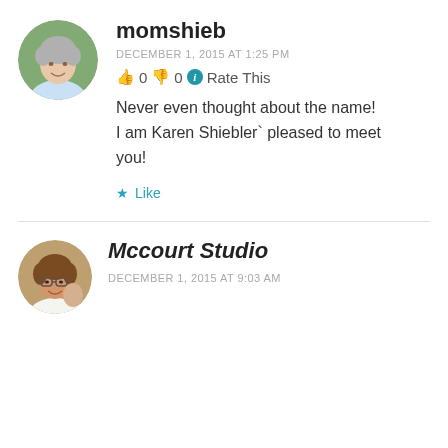[Figure (photo): Round avatar photo of an older woman with short grey hair, outdoors background]
momshieb
DECEMBER 1, 2015 AT 1:25 PM
👍 0 👎 0 ℹ Rate This
Never even thought about the name! I am Karen Shiebler` pleased to meet you!
★ Like
[Figure (photo): Round avatar photo of a smiling woman with glasses]
Mccourt Studio
DECEMBER 1, 2015 AT 9:03 AM